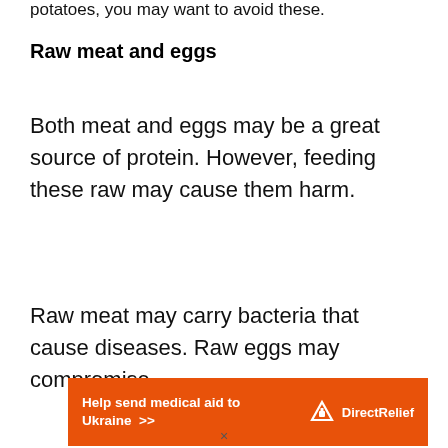potatoes, you may want to avoid these.
Raw meat and eggs
Both meat and eggs may be a great source of protein. However, feeding these raw may cause them harm.
Raw meat may carry bacteria that cause diseases. Raw eggs may compromise
[Figure (infographic): Orange advertisement banner for Direct Relief: 'Help send medical aid to Ukraine >>' with Direct Relief logo on the right.]